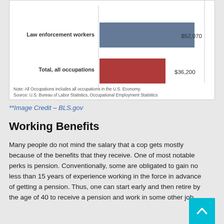[Figure (bar-chart): Median annual wages, May 2014]
Note: All Occupations includes all occupations in the U.S. Economy.
Source: U.S. Bureau of Labor Statistics, Occupational Employment Statistics
**Image Credit – BLS.gov
Working Benefits
Many people do not mind the salary that a cop gets mostly because of the benefits that they receive. One of most notable perks is pension. Conventionally, some are obligated to gain no less than 15 years of experience working in the force in advance of getting a pension. Thus, one can start early and then retire by the age of 40 to receive a pension and work in some other job.